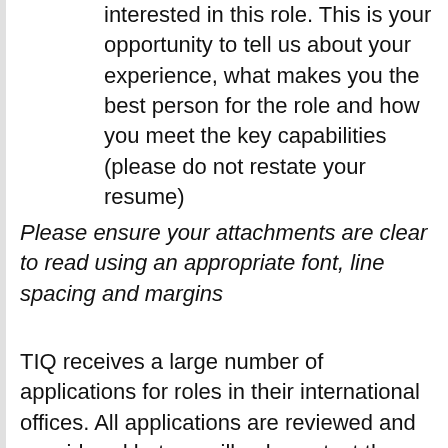interested in this role. This is your opportunity to tell us about your experience, what makes you the best person for the role and how you meet the key capabilities (please do not restate your resume)
Please ensure your attachments are clear to read using an appropriate font, line spacing and margins
TIQ receives a large number of applications for roles in their international offices. All applications are reviewed and considered but we will only contact those who are shortlisted for interview. We operate an